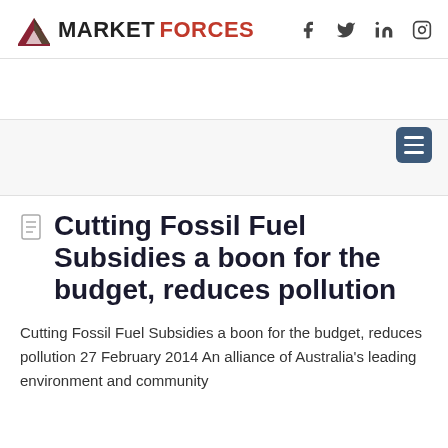MARKET FORCES
Cutting Fossil Fuel Subsidies a boon for the budget, reduces pollution
Cutting Fossil Fuel Subsidies a boon for the budget, reduces pollution 27 February 2014 An alliance of Australia's leading environment and community